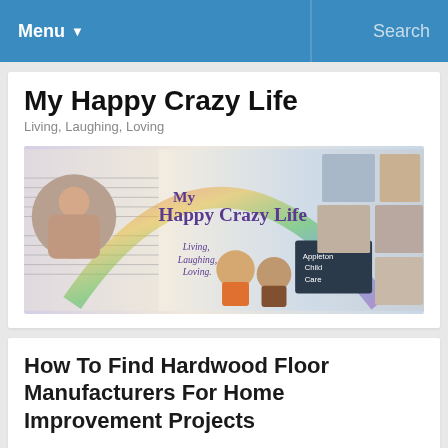Menu ▼    Search
My Happy Crazy Life
Living, Laughing, Loving
[Figure (photo): My Happy Crazy Life blog banner with collage of family photos and text 'Living, Laughing, Loving' and 'Appleton Child Care']
How To Find Hardwood Floor Manufacturers For Home Improvement Projects
Please welcome guest author Jenna back to My Happy Crazy Life. Today Jenna shares some home improvement tips…
[Figure (photo): Photo of hardwood floor with decorative rug]